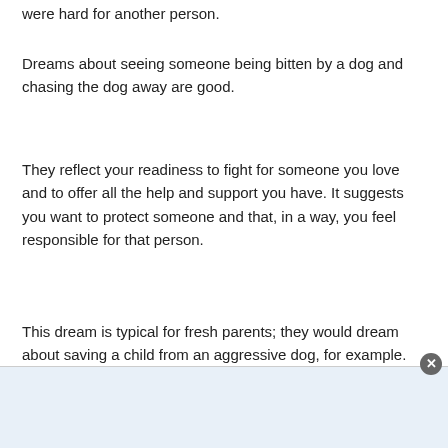were hard for another person.
Dreams about seeing someone being bitten by a dog and chasing the dog away are good.
They reflect your readiness to fight for someone you love and to offer all the help and support you have. It suggests you want to protect someone and that, in a way, you feel responsible for that person.
This dream is typical for fresh parents; they would dream about saving a child from an aggressive dog, for example.